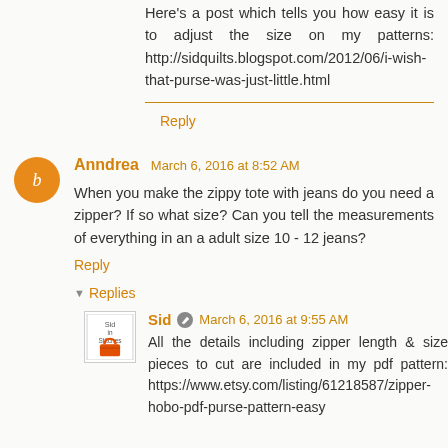Here's a post which tells you how easy it is to adjust the size on my patterns: http://sidquilts.blogspot.com/2012/06/i-wish-that-purse-was-just-little.html
Reply
Anndrea  March 6, 2016 at 8:52 AM
When you make the zippy tote with jeans do you need a zipper? If so what size? Can you tell the measurements of everything in an a adult size 10 - 12 jeans?
Reply
Replies
Sid  March 6, 2016 at 9:55 AM
All the details including zipper length & size pieces to cut are included in my pdf pattern: https://www.etsy.com/listing/61218587/zipper-hobo-pdf-purse-pattern-easy